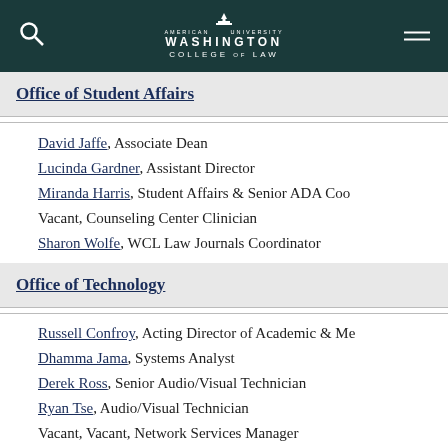American University Washington College of Law
Office of Student Affairs
David Jaffe, Associate Dean
Lucinda Gardner, Assistant Director
Miranda Harris, Student Affairs & Senior ADA Coordinator
Vacant, Counseling Center Clinician
Sharon Wolfe, WCL Law Journals Coordinator
Office of Technology
Russell Confroy, Acting Director of Academic & Media Technology
Dhamma Jama, Systems Analyst
Derek Ross, Senior Audio/Visual Technician
Ryan Tse, Audio/Visual Technician
Vacant, Vacant, Network Services Manager